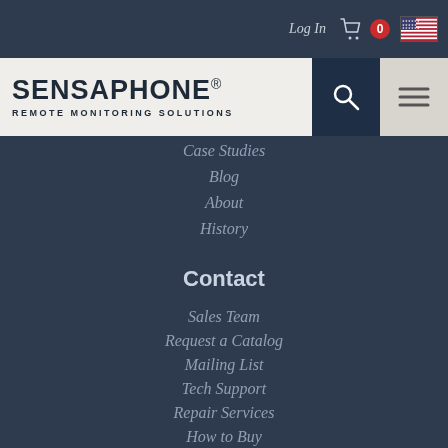Log In  0
[Figure (logo): Sensaphone logo with text SENSAPHONE® REMOTE MONITORING SOLUTIONS, with search and menu buttons on the right]
Case Studies
Blog
About
History
Contact
Sales Team
Request a Catalog
Mailing List
Tech Support
Repair Services
How to Buy
International Resellers